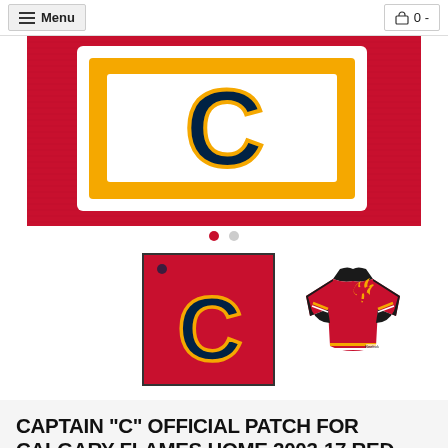Menu | 0 -
[Figure (photo): Close-up photograph of a red hockey jersey showing a patch with the Calgary Flames 'C' logo — navy blue C outlined in gold/yellow on white background, with red jersey texture visible]
[Figure (photo): Thumbnail 1: Calgary Flames Captain C patch on red background — navy C with gold outline]
[Figure (photo): Thumbnail 2: Calgary Flames red home jersey with Flames logo on chest and black sleeves]
CAPTAIN "C" OFFICIAL PATCH FOR CALGARY FLAMES HOME 2003-17 RED JERSEY